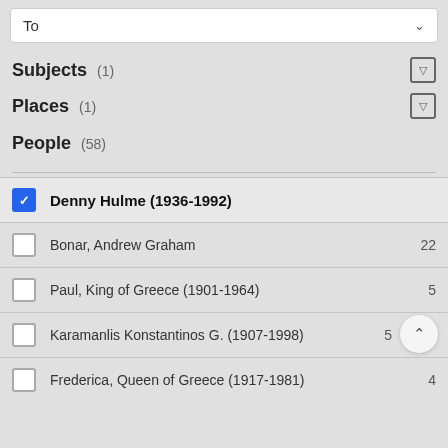To
Subjects (1)
Places (1)
People (58)
Denny Hulme (1936-1992)
Bonar, Andrew Graham  22
Paul, King of Greece (1901-1964)  5
Karamanlis Konstantinos G. (1907-1998)  5
Frederica, Queen of Greece (1917-1981)  4